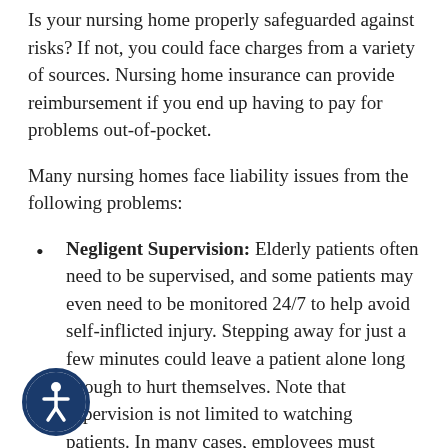Is your nursing home properly safeguarded against risks? If not, you could face charges from a variety of sources. Nursing home insurance can provide reimbursement if you end up having to pay for problems out-of-pocket.
Many nursing homes face liability issues from the following problems:
Negligent Supervision: Elderly patients often need to be supervised, and some patients may even need to be monitored 24/7 to help avoid self-inflicted injury. Stepping away for just a few minutes could leave a patient alone long enough to hurt themselves. Note that supervision is not limited to watching patients. In many cases, employees must actively check for
[Figure (illustration): Accessibility icon — a circular blue badge with a white person/wheelchair symbol inside]